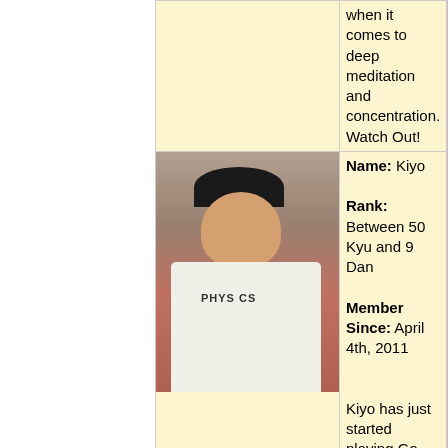when it comes to deep meditation and concentration. Watch Out!
[Figure (photo): Photo of a young Asian man wearing a white PHYSICS t-shirt, smiling, seated at what appears to be a restaurant booth with red seating.]
Name: Kiyo

Rank: Between 50 Kyu and 9 Dan

Member Since: April 4th, 2011

Kiyo has just started playing Go. He learned to play online, while surfing the net and has since become addicted (like all of us, l